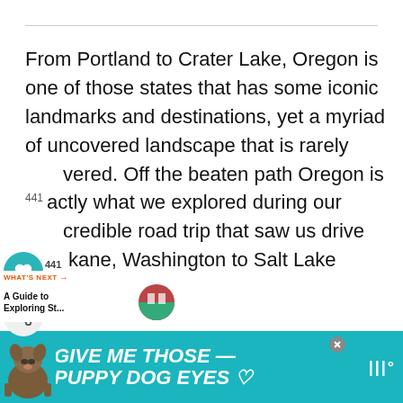From Portland to Crater Lake, Oregon is one of those states that has some iconic landmarks and destinations, yet a myriad of uncovered landscape that is rarely covered. Off the beaten path Oregon is exactly what we explored during our incredible road trip that saw us drive kane, Washington to Salt Lake City, Utah.
[Figure (infographic): Advertisement banner: teal background with a dog illustration and text 'GIVE ME THOSE PUPPY DOG EYES' in bold italic white text, with a close button and logo.]